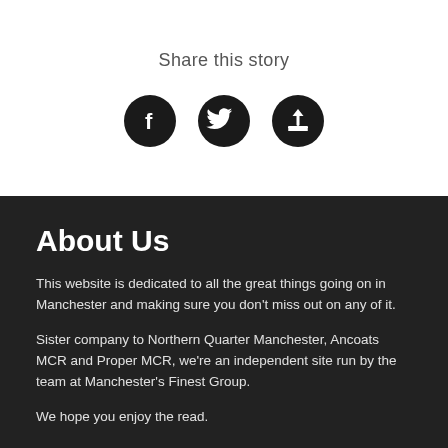Share this story
[Figure (illustration): Three circular social sharing icons: Facebook, Twitter, and an upload/share icon, all black on white background.]
About Us
This website is dedicated to all the great things going on in Manchester and making sure you don't miss out on any of it.
Sister company to Northern Quarter Manchester, Ancoats MCR and Proper MCR, we're an independent site run by the team at Manchester's Finest Group.
We hope you enjoy the read.